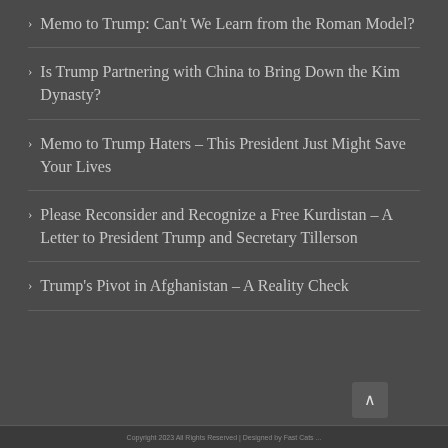Memo to Trump: Can't We Learn from the Roman Model?
Is Trump Partnering with China to Bring Down the Kim Dynasty?
Memo to Trump Haters – This President Just Might Save Your Lives
Please Reconsider and Recognize a Free Kurdistan – A Letter to President Trump and Secretary Tillerson
Trump's Pivot in Afghanistan – A Reality Check
Copyright 2023 All Rights Reserved | Designed by Fast Cats ...